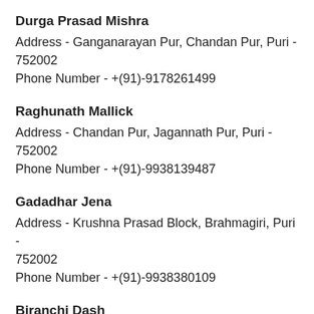Durga Prasad Mishra
Address - Ganganarayan Pur, Chandan Pur, Puri - 752002
Phone Number - +(91)-9178261499
Raghunath Mallick
Address - Chandan Pur, Jagannath Pur, Puri - 752002
Phone Number - +(91)-9938139487
Gadadhar Jena
Address - Krushna Prasad Block, Brahmagiri, Puri - 752002
Phone Number - +(91)-9938380109
Biranchi Dash
Address - Friends Club, Near Gundicha Temple, Puri -